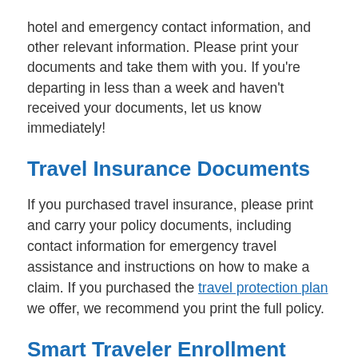hotel and emergency contact information, and other relevant information. Please print your documents and take them with you. If you're departing in less than a week and haven't received your documents, let us know immediately!
Travel Insurance Documents
If you purchased travel insurance, please print and carry your policy documents, including contact information for emergency travel assistance and instructions on how to make a claim. If you purchased the travel protection plan we offer, we recommend you print the full policy.
Smart Traveler Enrollment Program (STEP)
We encourage all U.S. citizens and nationals traveling abroad to enroll in the Department of State's Smart Traveler Enrollment Program (STEP). This free service allows you to receive important updates about safety and security issues in